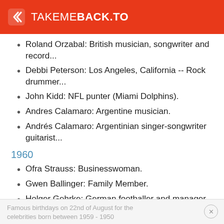TAKEMEBACK.TO
Roland Orzabal: British musician, songwriter and record...
Debbi Peterson: Los Angeles, California -- Rock drummer...
John Kidd: NFL punter (Miami Dolphins).
Andres Calamaro: Argentine musician.
Andrés Calamaro: Argentinian singer-songwriter guitarist...
1960
Ofra Strauss: Businesswoman.
Gwen Ballinger: Family Member.
Holger Gehrke: German footballer and manager.
1959 - 1950
Famous birthdays on 22nd of August for the celebrities born between 1959 - 1950